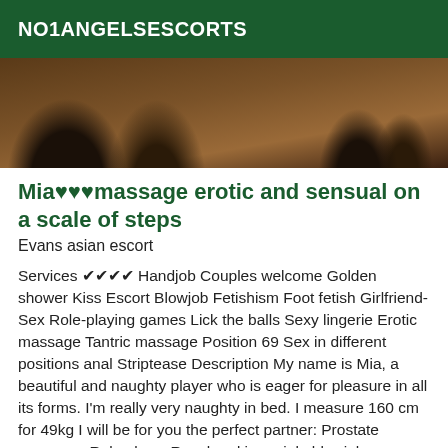NO1ANGELSESCORTS
[Figure (photo): Close-up photo of black high heel shoes on a wooden surface, cropped to show only the heels and base.]
Mia♥♥♥massage erotic and sensual on a scale of steps
Evans asian escort
Services ✔✔✔✔ Handjob Couples welcome Golden shower Kiss Escort Blowjob Fetishism Foot fetish Girlfriend-Sex Role-playing games Lick the balls Sexy lingerie Erotic massage Tantric massage Position 69 Sex in different positions anal Striptease Description My name is Mia, a beautiful and naughty player who is eager for pleasure in all its forms. I'm really very naughty in bed. I measure 160 cm for 49kg I will be for you the perfect partner: Prostate massage, Role plays, Royal and imperiale blowjob massage, Foot fetish,69, Rapport,